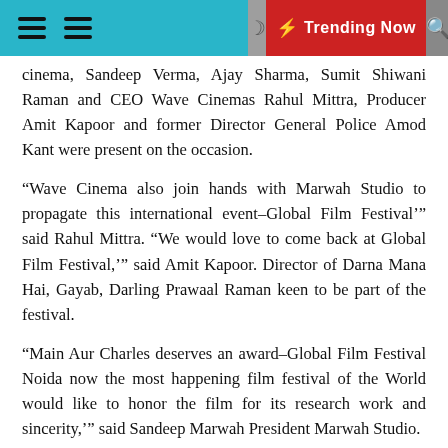Trending Now
cinema, Sandeep Verma, Ajay Sharma, Sumit Shiwani Raman and CEO Wave Cinemas Rahul Mittra, Producer Amit Kapoor and former Director General Police Amod Kant were present on the occasion.
“Wave Cinema also join hands with Marwah Studio to propagate this international event–Global Film Festival” said Rahul Mittra. “We would love to come back at Global Film Festival,” said Amit Kapoor. Director of Darna Mana Hai, Gayab, Darling Prawaal Raman keen to be part of the festival.
“Main Aur Charles deserves an award–Global Film Festival Noida now the most happening film festival of the World would like to honor the film for its research work and sincerity,” said Sandeep Marwah President Marwah Studio.
Actor and former Director General of Police Amod Kant IPS narrated different consequences of Charles Sobraj.